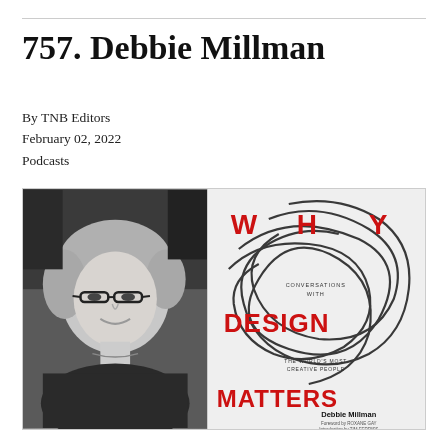757. Debbie Millman
By TNB Editors
February 02, 2022
Podcasts
[Figure (photo): Left half: Black and white portrait photo of Debbie Millman, a woman with blonde hair and dark-rimmed glasses, smiling. Right half: Book cover of 'Why Design Matters: Conversations with the World's Most Creative People' by Debbie Millman, with foreword by Roxane Gay and introduction by Tim Ferriss. The cover features large red letters spelling WHY DESIGN MATTERS arranged vertically with abstract black curving lines overlaid.]